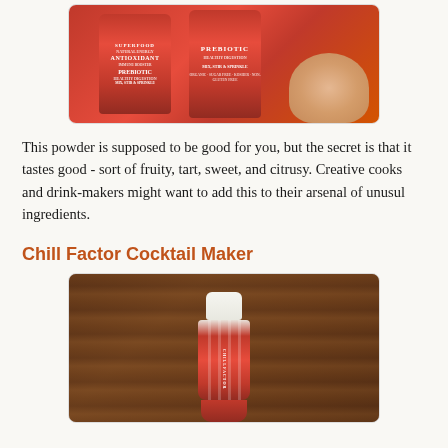[Figure (photo): Two red cans of superfood/prebiotic powder with some powder spilled out, product shot on white background]
This powder is supposed to be good for you, but the secret is that it tastes good - sort of fruity, tart, sweet, and citrusy. Creative cooks and drink-makers might want to add this to their arsenal of unusul ingredients.
Chill Factor Cocktail Maker
[Figure (photo): A red Chill Factor cocktail shaker/mixer on a wooden surface background]